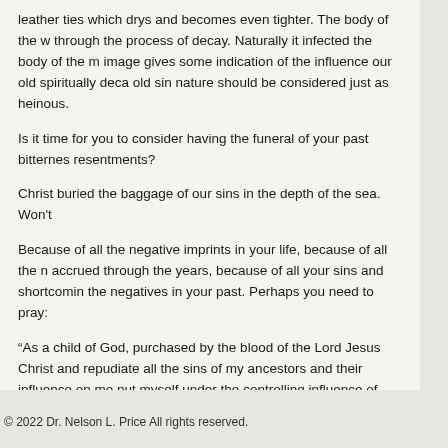leather ties which drys and becomes even tighter. The body of the w through the process of decay. Naturally it infected the body of the m image gives some indication of the influence our old spiritually deca old sin nature should be considered just as heinous.
Is it time for you to consider having the funeral of your past bitternes resentments?
Christ buried the baggage of our sins in the depth of the sea. Won't
Because of all the negative imprints in your life, because of all the n accrued through the years, because of all your sins and shortcomin the negatives in your past. Perhaps you need to pray:
“As a child of God, purchased by the blood of the Lord Jesus Christ and repudiate all the sins of my ancestors and their influence on me put myself under the controlling influence of Jesus Christ and denou my family, friends, or Satan.”
© 2022 Dr. Nelson L. Price All rights reserved.